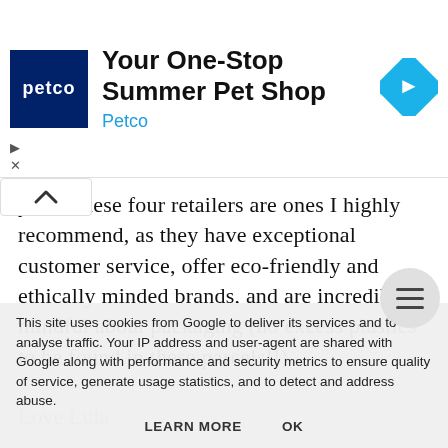[Figure (screenshot): Petco advertisement banner: 'Your One-Stop Summer Pet Shop' with Petco logo and blue arrow navigation icon]
yes!! These four retailers are ones I highly recommend, as they have exceptional customer service, offer eco-friendly and ethically minded brands, and are incredibly mindful about packaging (no excess plastics to be found in these parcels!!).
Love Lula
Who Are They: With a 'beauty for life' philosophy
Lula insists their product offerings must be free... pick the brands they decide to represent in their shop, and state all products are tried to ensure only those that are effective and 'cult free' are chosen. Offering
This site uses cookies from Google to deliver its services and to analyse traffic. Your IP address and user-agent are shared with Google along with performance and security metrics to ensure quality of service, generate usage statistics, and to detect and address abuse.
LEARN MORE    OK